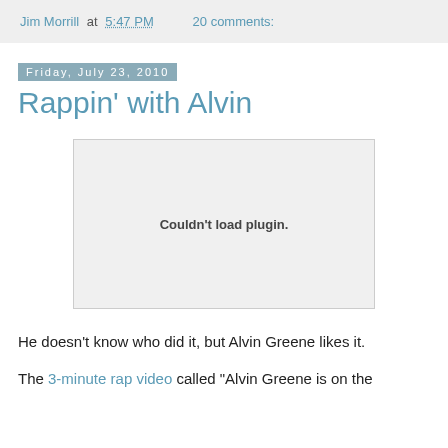Jim Morrill at 5:47 PM   20 comments:
Friday, July 23, 2010
Rappin' with Alvin
[Figure (other): Embedded media plugin area showing 'Couldn't load plugin.' message]
He doesn't know who did it, but Alvin Greene likes it.
The 3-minute rap video called "Alvin Greene is on the